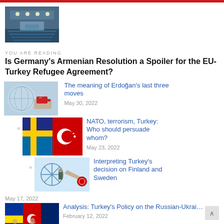[Figure (photo): Parliament chamber photo at top]
YOU ARE READING
Is Germany's Armenian Resolution a Spoiler for the EU-Turkey Refugee Agreement?
[Figure (photo): Tea cup and globe illustration for Erdogan article]
The meaning of Erdoğan's last three moves — May 30, 2022
[Figure (photo): Flags illustration: Turkey, Sweden, Finland for NATO article]
NATO, terrorism, Turkey: Who should persuade whom? — May 23, 2022
[Figure (photo): NATO and Turkey decision on Finland and Sweden illustration]
Interpreting Turkey's decision on Finland and Sweden
May 17, 2022
[Figure (photo): Turkey Russia Ukraine policy photo]
Analysis: Turkey's Policy on the Russian-Ukrainian... — February 12, 2022